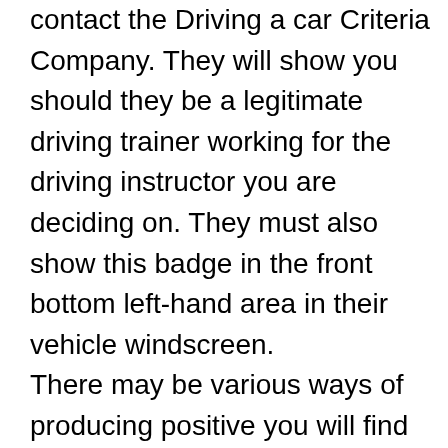contact the Driving a car Criteria Company. They will show you should they be a legitimate driving trainer working for the driving instructor you are deciding on. They must also show this badge in the front bottom left-hand area in their vehicle windscreen. There may be various ways of producing positive you will find the right driving instructor question your driving a car instructor that is certainly hired to you to generate a development record or question them the way that they will keep track of precisely what is happening from one course to another. By doing this you will end up certain a